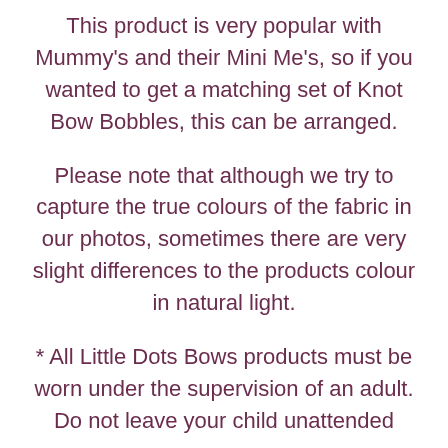This product is very popular with Mummy's and their Mini Me's, so if you wanted to get a matching set of Knot Bow Bobbles, this can be arranged.
Please note that although we try to capture the true colours of the fabric in our photos, sometimes there are very slight differences to the products colour in natural light.
* All Little Dots Bows products must be worn under the supervision of an adult. Do not leave your child unattended